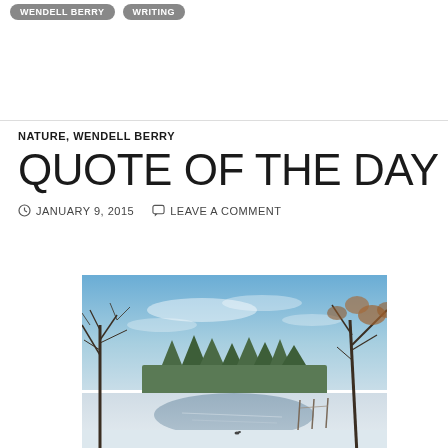WENDELL BERRY   WRITING
NATURE, WENDELL BERRY
QUOTE OF THE DAY
JANUARY 9, 2015   LEAVE A COMMENT
[Figure (photo): Winter landscape photograph showing a frozen or partially frozen pond/field covered in snow, with bare trees in the foreground on both sides, evergreen trees in the background, and a blue sky with wispy clouds above.]